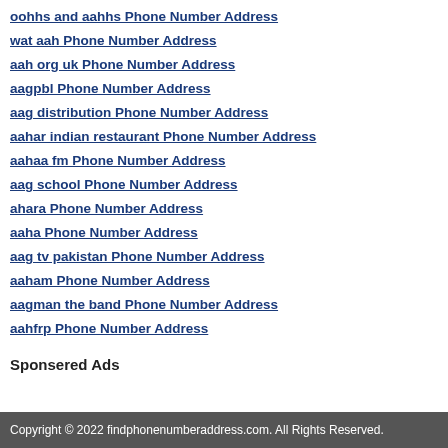oohhs and aahhs Phone Number Address
wat aah Phone Number Address
aah org uk Phone Number Address
aagpbl Phone Number Address
aag distribution Phone Number Address
aahar indian restaurant Phone Number Address
aahaa fm Phone Number Address
aag school Phone Number Address
ahara Phone Number Address
aaha Phone Number Address
aag tv pakistan Phone Number Address
aaham Phone Number Address
aagman the band Phone Number Address
aahfrp Phone Number Address
Sponsered Ads
Copyright © 2022 findphonenumberaddress.com. All Rights Reserved.